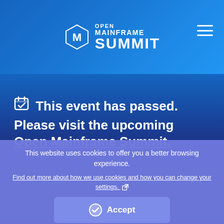[Figure (logo): Open Mainframe Summit logo with hexagonal M icon and text OPEN MAINFRAME SUMMIT in white on blue gradient background, with hamburger menu icon in top right]
🗓 This event has passed. Please visit the upcoming Open Mainframe Summit.
This website uses cookies to offer you a better browsing experience.
Find out more about how we use cookies and how you can change your settings. ↗
✓ Accept